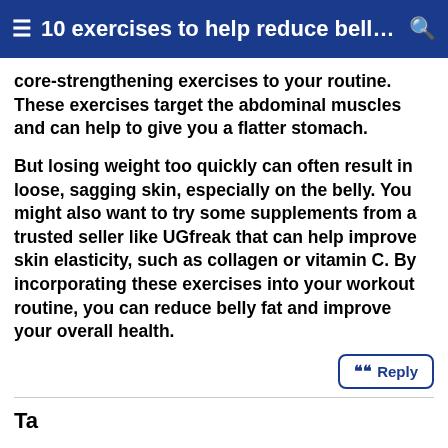10 exercises to help reduce belly…
core-strengthening exercises to your routine. These exercises target the abdominal muscles and can help to give you a flatter stomach.
But losing weight too quickly can often result in loose, sagging skin, especially on the belly. You might also want to try some supplements from a trusted seller like UGfreak that can help improve skin elasticity, such as collagen or vitamin C. By incorporating these exercises into your workout routine, you can reduce belly fat and improve your overall health.
Reply
Tags